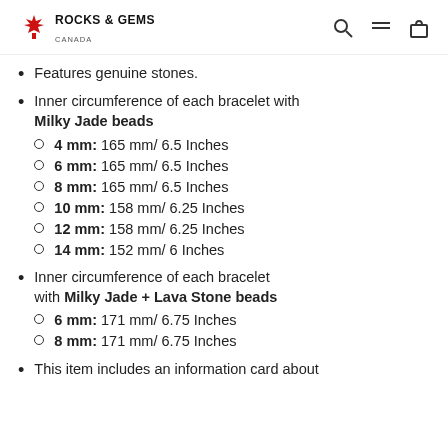ROCKS & GEMS CANADA
Features genuine stones.
Inner circumference of each bracelet with Milky Jade beads
4 mm: 165 mm/ 6.5 Inches
6 mm: 165 mm/ 6.5 Inches
8 mm: 165 mm/ 6.5 Inches
10 mm: 158 mm/ 6.25 Inches
12 mm: 158 mm/ 6.25 Inches
14 mm: 152 mm/ 6 Inches
Inner circumference of each bracelet with Milky Jade + Lava Stone beads
6 mm: 171 mm/ 6.75 Inches
8 mm: 171 mm/ 6.75 Inches
This item includes an information card about